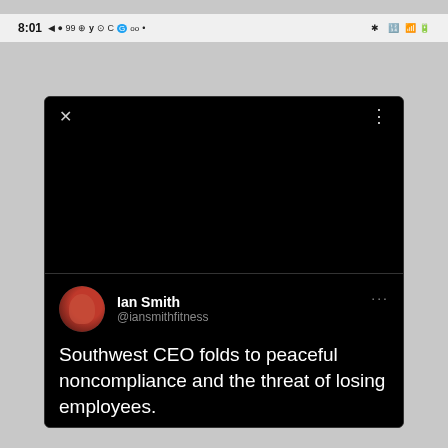8:01 [status bar icons]
[Figure (screenshot): Mobile phone screenshot showing a Twitter/social media post in dark mode. The tweet is by Ian Smith (@iansmithfitness). The tweet reads: 'Southwest CEO folds to peaceful noncompliance and the threat of losing employees. "We are not going to fire any employees over this"'. The top portion of the tweet card is a large black area (possibly a video or collapsed image). There is a close (X) button top-left and a more options (...) button top-right.]